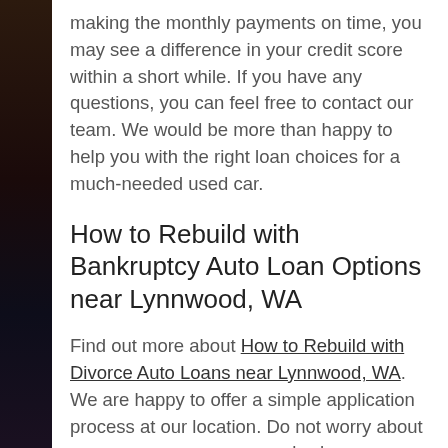making the monthly payments on time, you may see a difference in your credit score within a short while. If you have any questions, you can feel free to contact our team. We would be more than happy to help you with the right loan choices for a much-needed used car.
How to Rebuild with Bankruptcy Auto Loan Options near Lynnwood, WA
Find out more about How to Rebuild with Divorce Auto Loans near Lynnwood, WA. We are happy to offer a simple application process at our location. Do not worry about any unnecessary paperwork when you apply for the loan. You can take advantage of our convenient online process and apply from anywhere with an internet connection. You can fill it with basic details such as contact information, personal information, and employment details. We maintain the privacy of your details and do not